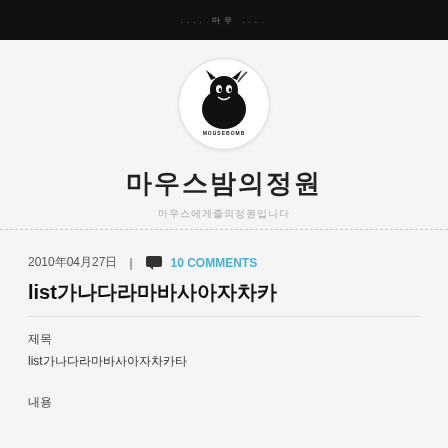.... 마우 ....
[Figure (logo): MOUSEBOMB logo — circular badge with black cat/bomb illustration and text MOUSEBOMB]
마우스밤의정원
마우스에게줄의정원입니다
2010년04월27일  |  💬  10 COMMENTS
list가나다라마바사아자차카
제목
list가나다라마바사아자차카타
내용